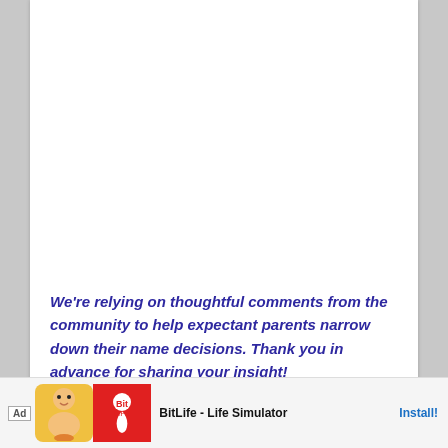We're relying on thoughtful comments from the community to help expectant parents narrow down their name decisions. Thank you in advance for sharing your insight!
Kim writes:
MY LATEST VIDEOS
[Figure (other): Advertisement banner for BitLife - Life Simulator mobile app with Ad label, cartoon baby graphic, red BitLife logo with sperm icon, app name and Install button]